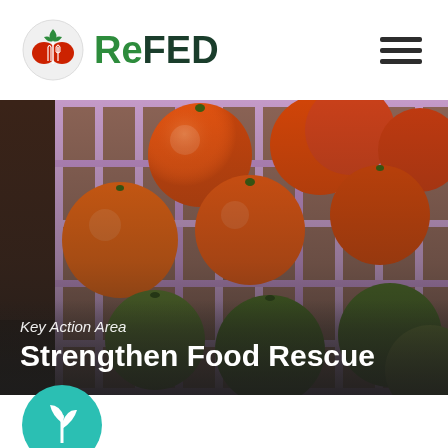ReFED
[Figure (photo): Crates of orange and green tomatoes photographed from above, with pink/purple plastic crate slats visible]
Key Action Area
Strengthen Food Rescue
[Figure (logo): Partial teal circle with white leaf/plant icon visible at bottom of page]